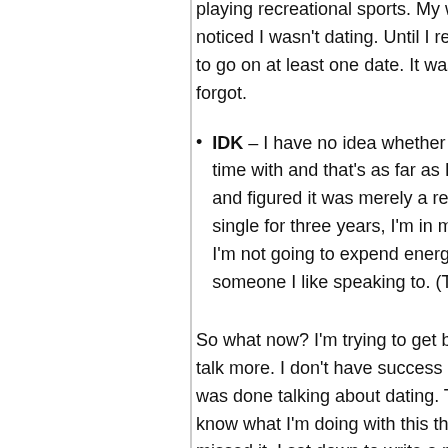playing recreational sports. My we noticed I wasn't dating. Until I rea to go on at least one date. It wasn forgot.
IDK – I have no idea whether I wa time with and that's as far as I've and figured it was merely a reacti single for three years, I'm in my m I'm not going to expend energy try someone I like speaking to. (That
So what now? I'm trying to get back in th talk more. I don't have success online bu was done talking about dating. Technical know what I'm doing with this thing but I' missed it. I sat down to write a night ago why I love writing. I remembered the cath universe. I also need to be held accounta on a page, people see it. People read it.